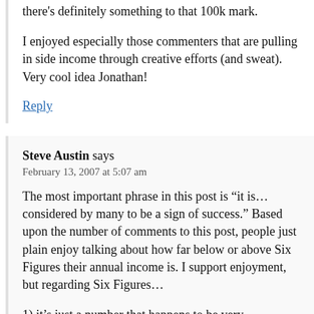there's definitely something to that 100k mark.
I enjoyed especially those commenters that are pulling in side income through creative efforts (and sweat). Very cool idea Jonathan!
Reply
Steve Austin says
February 13, 2007 at 5:07 am
The most important phrase in this post is “it is… considered by many to be a sign of success.” Based upon the number of comments to this post, people just plain enjoy talking about how far below or above Six Figures their annual income is. I support enjoyment, but regarding Six Figures…
1) it’s just a number that happens to be very